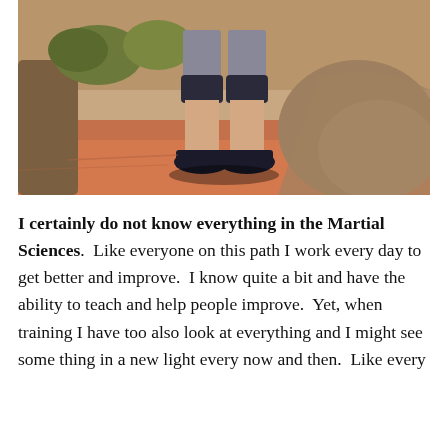[Figure (photo): A person standing on reddish rock terrain outdoors, wearing shorts with knee pads and black shoes. Rocky canyon landscape visible in the background.]
I certainly do not know everything in the Martial Sciences.  Like everyone on this path I work every day to get better and improve.  I know quite a bit and have the ability to teach and help people improve.  Yet, when training I have too also look at everything and I might see some thing in a new light every now and then.  Like every